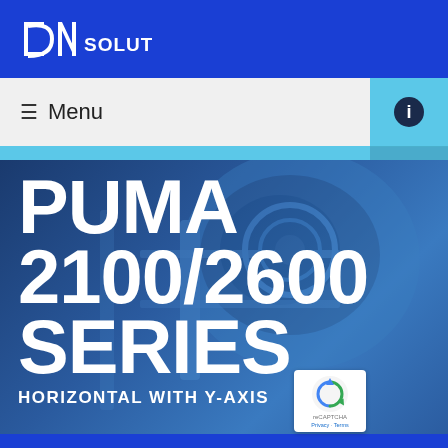DN SOLUTIONS
≡ Menu
PUMA 2100/2600 SERIES
HORIZONTAL WITH Y-AXIS
[Figure (screenshot): DN Solutions website screenshot showing PUMA 2100/2600 SERIES horizontal lathe with Y-axis, with navigation menu bar and side icon buttons for info, mail, catalog, and location.]